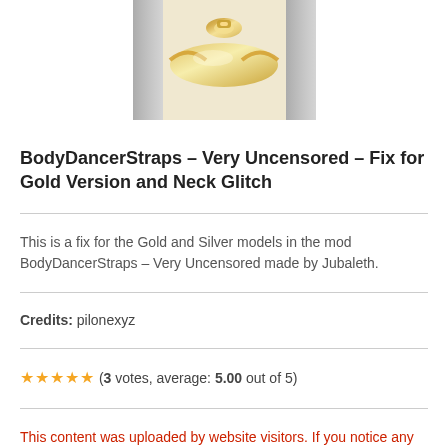[Figure (photo): Gold-colored body dancer straps accessory on a light background]
BodyDancerStraps – Very Uncensored – Fix for Gold Version and Neck Glitch
This is a fix for the Gold and Silver models in the mod BodyDancerStraps – Very Uncensored made by Jubaleth.
Credits: pilonexyz
★★★★★ (3 votes, average: 5.00 out of 5)
This content was uploaded by website visitors. If you notice any mistake, please let us know.
Looking for opportunities to update the Cyberpunk 2077?